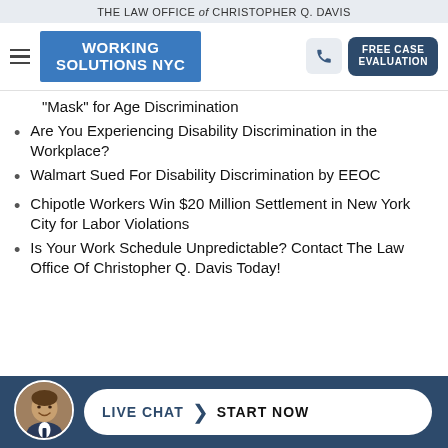THE LAW OFFICE of CHRISTOPHER Q. DAVIS
[Figure (logo): Working Solutions NYC logo with blue background and white bold text, hamburger menu, phone button, and FREE CASE EVALUATION button]
“Mask” for Age Discrimination
Are You Experiencing Disability Discrimination in the Workplace?
Walmart Sued For Disability Discrimination by EEOC
Chipotle Workers Win $20 Million Settlement in New York City for Labor Violations
Is Your Work Schedule Unpredictable? Contact The Law Office Of Christopher Q. Davis Today!
[Figure (infographic): Blue footer bar with attorney photo avatar on the left and a white pill-shaped LIVE CHAT > START NOW button on the right]